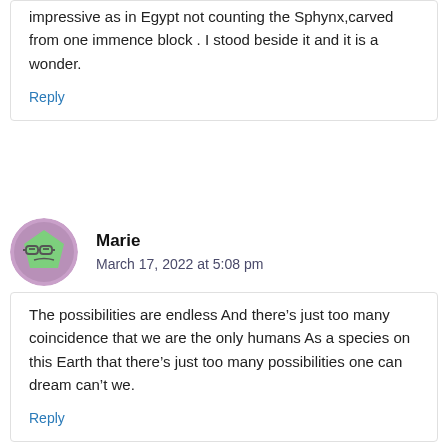impressive as in Egypt not counting the Sphynx,carved from one immence block . I stood beside it and it is a wonder.
Reply
Marie
March 17, 2022 at 5:08 pm
The possibilities are endless And there’s just too many coincidence that we are the only humans As a species on this Earth that there’s just too many possibilities one can dream can’t we.
Reply